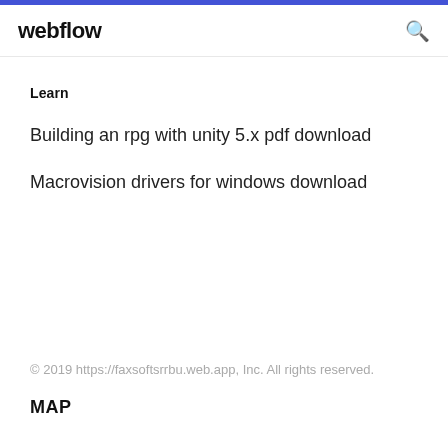webflow
Learn
Building an rpg with unity 5.x pdf download
Macrovision drivers for windows download
© 2019 https://faxsoftsrrbu.web.app, Inc. All rights reserved.
MAP